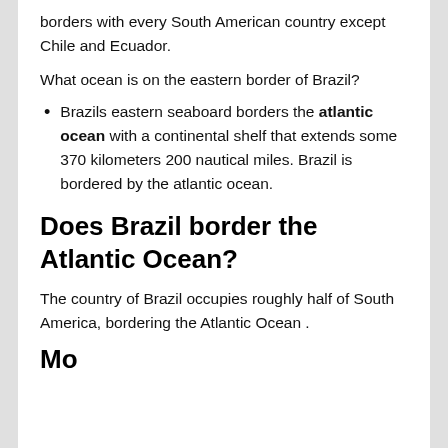borders with every South American country except Chile and Ecuador.
What ocean is on the eastern border of Brazil?
Brazils eastern seaboard borders the atlantic ocean with a continental shelf that extends some 370 kilometers 200 nautical miles. Brazil is bordered by the atlantic ocean.
Does Brazil border the Atlantic Ocean?
The country of Brazil occupies roughly half of South America, bordering the Atlantic Ocean .
Mo